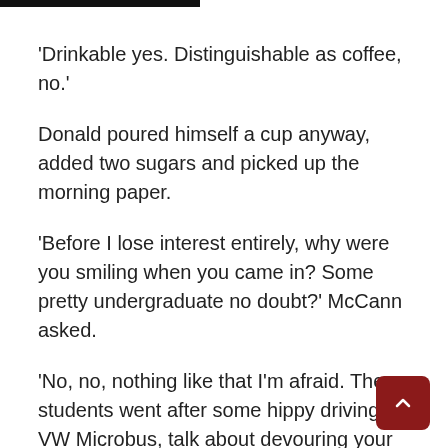'Drinkable yes. Distinguishable as coffee, no.'
Donald poured himself a cup anyway, added two sugars and picked up the morning paper.
'Before I lose interest entirely, why were you smiling when you came in? Some pretty undergraduate no doubt?' McCann asked.
'No, no, nothing like that I'm afraid. The students went after some hippy driving a VW Microbus, talk about devouring your own.'
'Aye. I've seen that thing around. New guy. Been parking in my spot. Kicked his side panels a few times. Buckled like anything. It's an original. Those